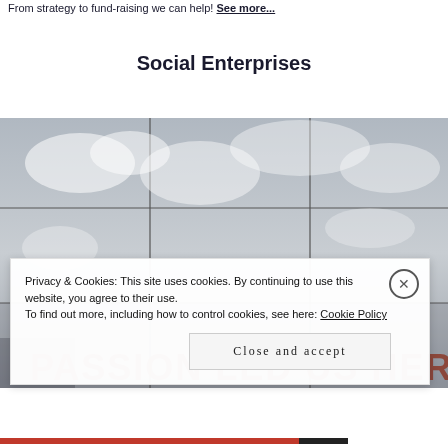From strategy to fund-raising we can help! See more
Social Enterprises
[Figure (photo): Photograph of reflective tiles/pavement with clouds reflected, text reading 'PASSION LED US HERE' in red/brown letters visible at the bottom]
Privacy & Cookies: This site uses cookies. By continuing to use this website, you agree to their use.
To find out more, including how to control cookies, see here: Cookie Policy
Close and accept